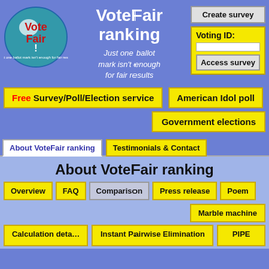[Figure (logo): VoteFair oval logo with red and white text 'Vote Fair!' on teal/blue background]
VoteFair ranking
Just one ballot mark isn't enough for fair results
Create survey
Voting ID:
Access survey
Free Survey/Poll/Election service
American Idol poll
Government elections
About VoteFair ranking
Testimonials & Contact
About VoteFair ranking
Overview
FAQ
Comparison
Press release
Poem
Marble machine
Calculation details
Instant Pairwise Elimination
PIPE